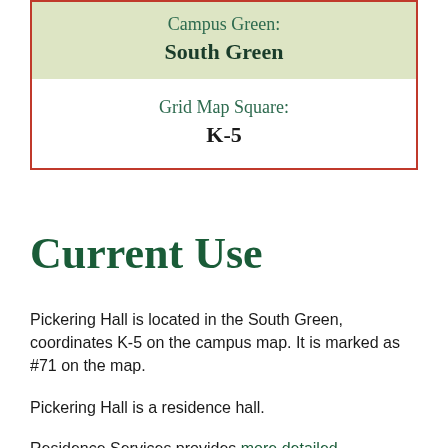Campus Green: South Green
Grid Map Square: K-5
Current Use
Pickering Hall is located in the South Green, coordinates K-5 on the campus map. It is marked as #71 on the map.
Pickering Hall is a residence hall.
Residence Services provides more detailed